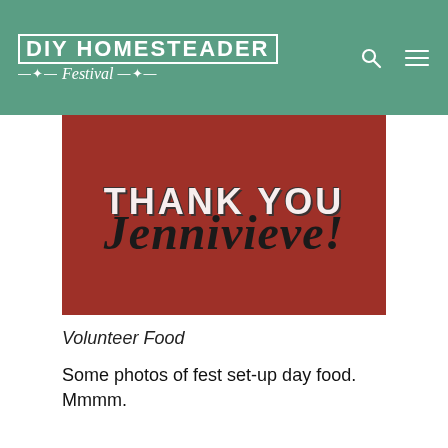DIY HOMESTEADER Festival
[Figure (illustration): Red background image with overlapping text: 'THANK YOU' in white distressed block letters and 'Jennivieve!' in large black cursive script]
Volunteer Food
Some photos of fest set-up day food. Mmmm.